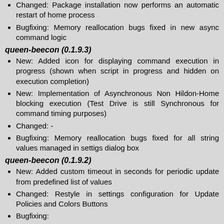Changed: Package installation now performs an automatic restart of home process
Bugfixing: Memory reallocation bugs fixed in new async command logic
queen-beecon (0.1.9.3)
New: Added icon for displaying command execution in progress (shown when script in progress and hidden on execution completion)
New: Implementation of Asynchronous Non Hildon-Home blocking execution (Test Drive is still Synchronous for command timing purposes)
Changed: -
Bugfixing: Memory reallocation bugs fixed for all string values managed in settigs dialog box
queen-beecon (0.1.9.2)
New: Added custom timeout in seconds for periodic update from predefined list of values
Changed: Restyle in settings configuration for Update Policies and Colors Buttons
Bugfixing:
queen-beecon (0.1.9.1)